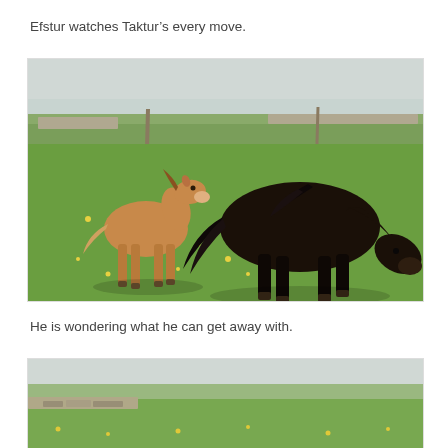Efstur watches Taktur’s every move.
[Figure (photo): A light brown foal standing beside a large dark black horse grazing in a green meadow with yellow wildflowers. Rocky stone walls and overcast sky visible in the background.]
He is wondering what he can get away with.
[Figure (photo): Partial view of a similar outdoor meadow scene with rocky stone walls, green grass, and overcast sky — bottom portion cropped.]